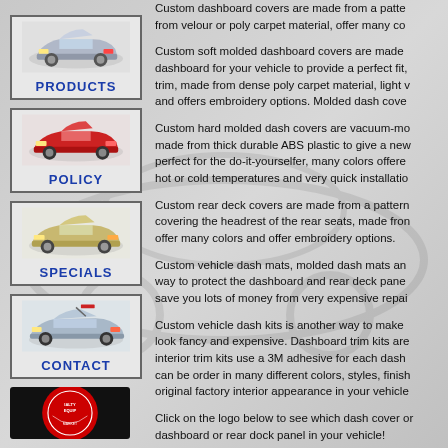Custom dashboard covers are made from a pattern taken from the dashboard of your vehicle, made from velour or poly carpet material, offer many colors and offer embroidery options.
[Figure (illustration): Silver sports car (Porsche 911 style) nav button labeled PRODUCTS]
Custom soft molded dashboard covers are made by molding the dashboard for your vehicle to provide a perfect fit, trimmed with binding trim, made from dense poly carpet material, light weight, fits perfectly and offers embroidery options. Molded dash covers
[Figure (illustration): Red sports car nav button labeled POLICY]
Custom hard molded dash covers are vacuum-molded to your dash, made from thick durable ABS plastic to give a new look to your dash, perfect for the do-it-yourselfer, many colors offered, unaffected by hot or cold temperatures and very quick installation.
[Figure (illustration): Gold/beige sports car nav button labeled SPECIALS]
Custom rear deck covers are made from a pattern of your vehicle covering the headrest of the rear seats, made from velour or carpet, offer many colors and offer embroidery options.
Custom vehicle dash mats, molded dash mats and rear deck mats are a way to protect the dashboard and rear deck panels from fading and can save you lots of money from very expensive repairs.
[Figure (illustration): Silver supercar nav button labeled CONTACT]
Custom vehicle dash kits is another way to make your vehicle interior look fancy and expensive. Dashboard trim kits are very easy to install, interior trim kits use a 3M adhesive for each dash panel and dash kits can be order in many different colors, styles, finishes to replace the original factory interior appearance in your vehicle.
[Figure (logo): Specialty Equipment circular logo (partially visible at bottom left)]
Click on the logo below to see which dash cover or dashboard or rear deck panel in your vehicle!